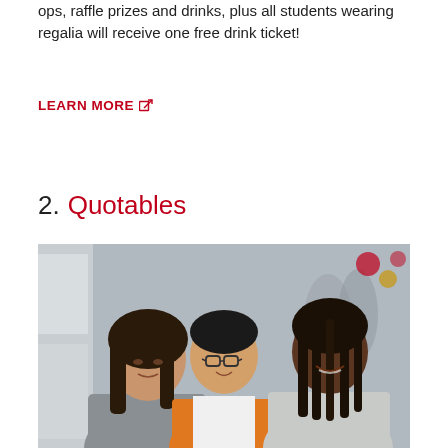ops, raffle prizes and drinks, plus all students wearing regalia will receive one free drink ticket!
LEARN MORE ↗
2. Quotables
[Figure (photo): Three smiling students posing together in a hallway. The left student wears a grey top, the center student wears an orange blazer and glasses, and the right student wears a light grey blazer and has braided hair. Blurred decorations visible in background.]